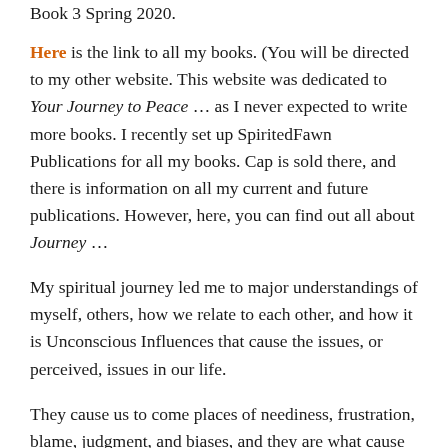Book 3 Spring 2020.
Here is the link to all my books. (You will be directed to my other website. This website was dedicated to Your Journey to Peace … as I never expected to write more books. I recently set up SpiritedFawn Publications for all my books. Cap is sold there, and there is information on all my current and future publications. However, here, you can find out all about Journey …
My spiritual journey led me to major understandings of myself, others, how we relate to each other, and how it is Unconscious Influences that cause the issues, or perceived, issues in our life.
They cause us to come places of neediness, frustration, blame, judgment, and biases, and they are what cause anger, greed, manipulation, controlling tendencies – and all other reactions that not only cause us conflicts in our relationships, but also do not bring